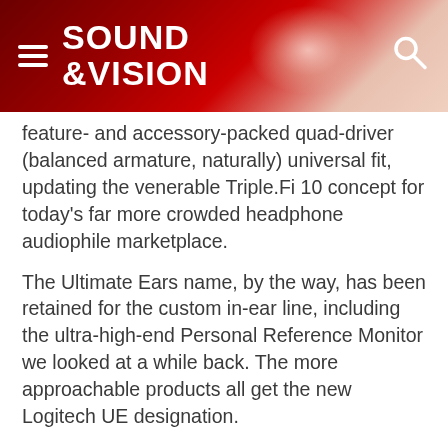SOUND &VISION
feature- and accessory-packed quad-driver (balanced armature, naturally) universal fit, updating the venerable Triple.Fi 10 concept for today's far more crowded headphone audiophile marketplace.
The Ultimate Ears name, by the way, has been retained for the custom in-ear line, including the ultra-high-end Personal Reference Monitor we looked at a while back. The more approachable products all get the new Logitech UE designation.
But that kind of thing is mainly interesting for the branding guys. Let's talk headphones.
View More